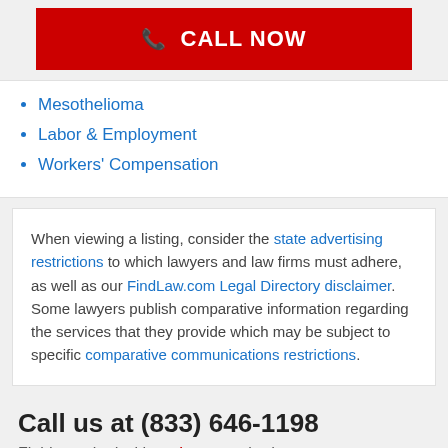[Figure (other): Red CALL NOW button with phone icon]
Mesothelioma
Labor & Employment
Workers' Compensation
When viewing a listing, consider the state advertising restrictions to which lawyers and law firms must adhere, as well as our FindLaw.com Legal Directory disclaimer. Some lawyers publish comparative information regarding the services that they provide which may be subject to specific comparative communications restrictions.
Call us at (833) 646-1198
Fields marked with an * are required